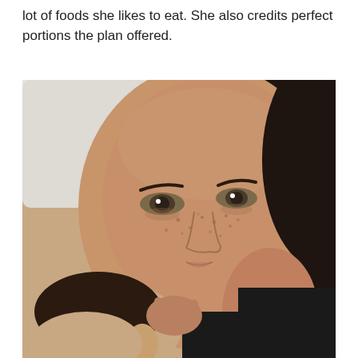lot of foods she likes to eat. She also credits perfect portions the plan offered.
[Figure (photo): A woman with freckles and dark hair lying on a white pillow, holding a baby with dark hair against her chest. The woman is wearing a black tank top and looking directly at the camera with a tired expression.]